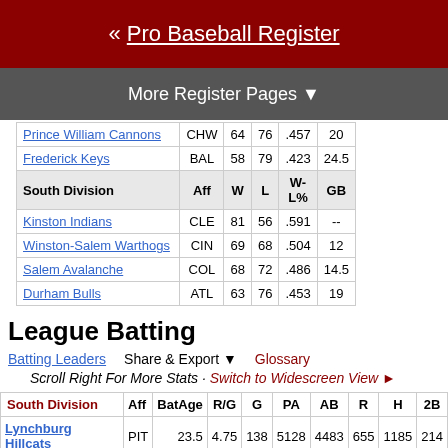« Pro Baseball Register
More Register Pages ▼
|  | Aff | W | L | W-L% | GB |
| --- | --- | --- | --- | --- | --- |
| Prince William Cannons | CHW | 64 | 76 | .457 | 20 |
| Frederick Keys | BAL | 58 | 79 | .423 | 24.5 |
| South Division | Aff | W | L | W-L% | GB |
| Kinston Indians | CLE | 81 | 56 | .591 | -- |
| Winston-Salem Warthogs | CIN | 69 | 68 | .504 | 12 |
| Salem Avalanche | COL | 68 | 72 | .486 | 14.5 |
| Durham Bulls | ATL | 63 | 76 | .453 | 19 |
League Batting
Batting Leaders   Share & Export ▼   Glossary
Scroll Right For More Stats · Switch to Widescreen View ►
| South Division | Aff | BatAge | R/G | G | PA | AB | R | H | 2B |
| --- | --- | --- | --- | --- | --- | --- | --- | --- | --- |
| Lynchburg Hillcats | PIT | 23.5 | 4.75 | 138 | 5128 | 4483 | 655 | 1185 | 214 |